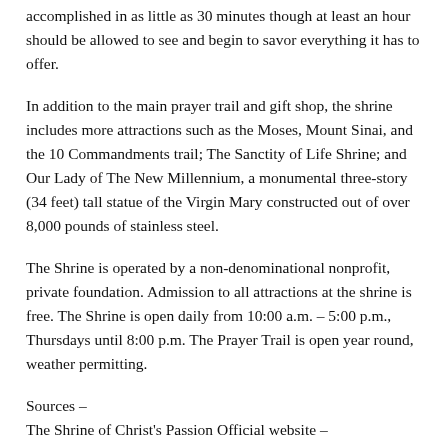accomplished in as little as 30 minutes though at least an hour should be allowed to see and begin to savor everything it has to offer.
In addition to the main prayer trail and gift shop, the shrine includes more attractions such as the Moses, Mount Sinai, and the 10 Commandments trail; The Sanctity of Life Shrine; and Our Lady of The New Millennium, a monumental three-story (34 feet) tall statue of the Virgin Mary constructed out of over 8,000 pounds of stainless steel.
The Shrine is operated by a non-denominational nonprofit, private foundation. Admission to all attractions at the shrine is free. The Shrine is open daily from 10:00 a.m. – 5:00 p.m., Thursdays until 8:00 p.m. The Prayer Trail is open year round, weather permitting.
Sources –
The Shrine of Christ's Passion Official website –